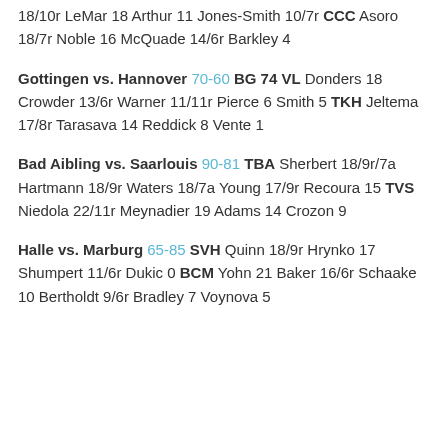18/10r LeMar 18 Arthur 11 Jones-Smith 10/7r CCC Asoro 18/7r Noble 16 McQuade 14/6r Barkley 4
Gottingen vs. Hannover 70-60 BG 74 VL Donders 18 Crowder 13/6r Warner 11/11r Pierce 6 Smith 5 TKH Jeltema 17/8r Tarasava 14 Reddick 8 Vente 1
Bad Aibling vs. Saarlouis 90-81 TBA Sherbert 18/9r/7a Hartmann 18/9r Waters 18/7a Young 17/9r Recoura 15 TVS Niedola 22/11r Meynadier 19 Adams 14 Crozon 9
Halle vs. Marburg 65-85 SVH Quinn 18/9r Hrynko 17 Shumpert 11/6r Dukic 0 BCM Yohn 21 Baker 16/6r Schaake 10 Bertholdt 9/6r Bradley 7 Voynova 5